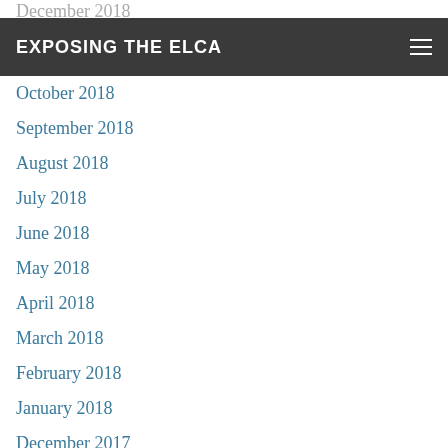EXPOSING THE ELCA
October 2018
September 2018
August 2018
July 2018
June 2018
May 2018
April 2018
March 2018
February 2018
January 2018
December 2017
November 2017
October 2017
September 2017
August 2017
July 2017
June 2017